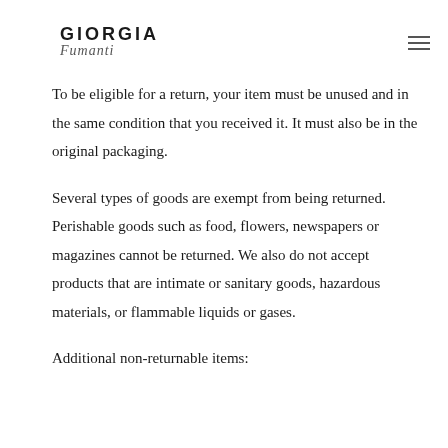GIORGIA Fumanti
To be eligible for a return, your item must be unused and in the same condition that you received it. It must also be in the original packaging.
Several types of goods are exempt from being returned. Perishable goods such as food, flowers, newspapers or magazines cannot be returned. We also do not accept products that are intimate or sanitary goods, hazardous materials, or flammable liquids or gases.
Additional non-returnable items: